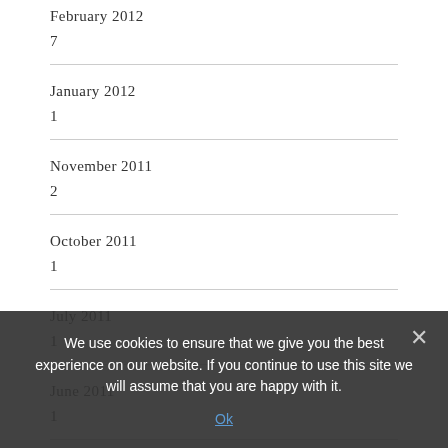February 2012
7
January 2012
1
November 2011
2
October 2011
1
July 2011
1
June 2011
1
May 2011
We use cookies to ensure that we give you the best experience on our website. If you continue to use this site we will assume that you are happy with it.
Ok